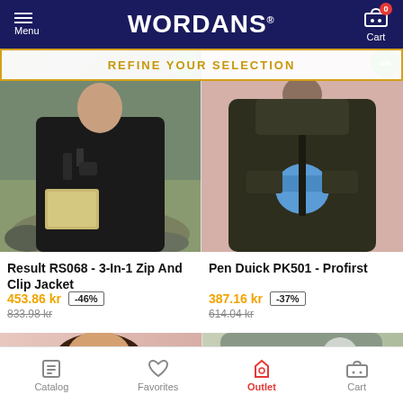Menu | WORDANS | Cart (0)
REFINE YOUR SELECTION
[Figure (photo): Person wearing a black 3-in-1 zip and clip jacket, sitting outdoors reading a document]
Result RS068 - 3-In-1 Zip And Clip Jacket
453.86 kr  -46%  833.98 kr
[Figure (photo): Person wearing a dark olive Pen Duick profirst jacket, holding a blue hard hat, against pink background]
Pen Duick PK501 - Profirst
387.16 kr  -37%  614.04 kr
[Figure (photo): Partial view of bottom product row showing two products with 48h badges]
Catalog | Favorites | Outlet | Cart